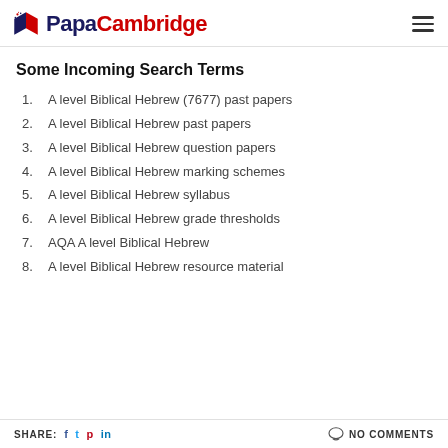PapaCambridge
Some Incoming Search Terms
A level Biblical Hebrew (7677) past papers
A level Biblical Hebrew past papers
A level Biblical Hebrew question papers
A level Biblical Hebrew marking schemes
A level Biblical Hebrew syllabus
A level Biblical Hebrew grade thresholds
AQA A level Biblical Hebrew
A level Biblical Hebrew resource material
SHARE: f t p in   NO COMMENTS